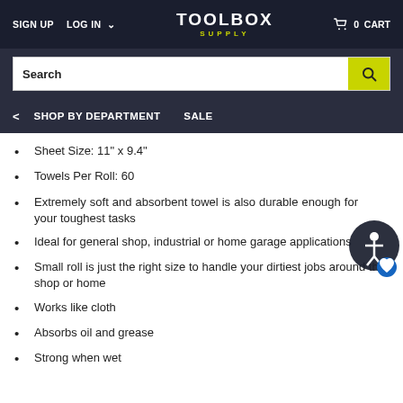SIGN UP  LOG IN  TOOLBOX SUPPLY  0 CART
Search
< SHOP BY DEPARTMENT  SALE
Sheet Size: 11" x 9.4"
Towels Per Roll: 60
Extremely soft and absorbent towel is also durable enough for your toughest tasks
Ideal for general shop, industrial or home garage applications
Small roll is just the right size to handle your dirtiest jobs around the shop or home
Works like cloth
Absorbs oil and grease
Strong when wet